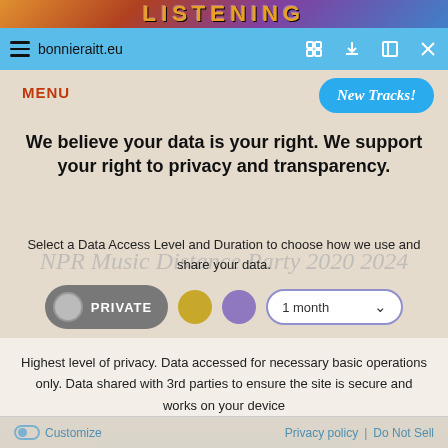LISTENING
bonnieraitt.eu
We believe your data is your right. We support your right to privacy and transparency.
Select a Data Access Level and Duration to choose how we use and share your data.
PRIVATE  1 month
Highest level of privacy. Data accessed for necessary basic operations only. Data shared with 3rd parties to ensure the site is secure and works on your device
Save my preferences
Customize   Privacy policy | Do Not Sell